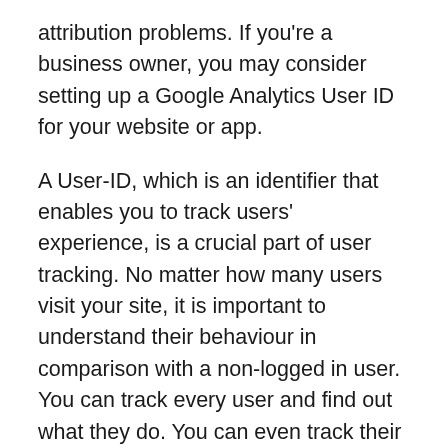attribution problems. If you're a business owner, you may consider setting up a Google Analytics User ID for your website or app.
A User-ID, which is an identifier that enables you to track users' experience, is a crucial part of user tracking. No matter how many users visit your site, it is important to understand their behaviour in comparison with a non-logged in user. You can track every user and find out what they do. You can even track their activity from a new device using the user ID. In the future, you can even integrate a user-ID feature into your analytics account.
User retention
One way to measure customer retention is to